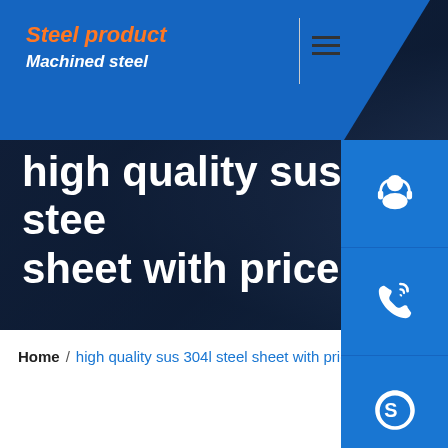Steel product / Machined steel
high quality sus 304l steel sheet with price
[Figure (screenshot): Three blue square side-panel icon buttons: customer service headset icon, phone/call icon, and Skype icon]
Home / high quality sus 304l steel sheet with price